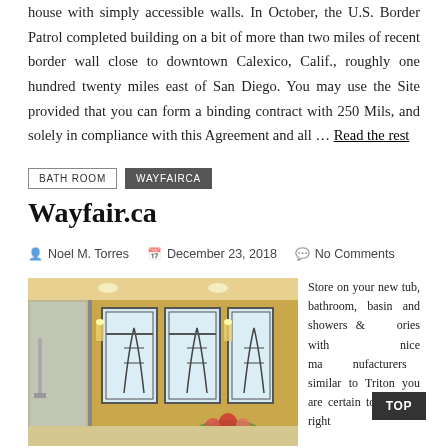house with simply accessible walls. In October, the U.S. Border Patrol completed building on a bit of more than two miles of recent border wall close to downtown Calexico, Calif., roughly one hundred twenty miles east of San Diego. You may use the Site provided that you can form a binding contract with 250 Mils, and solely in compliance with this Agreement and all … Read the rest
BATH ROOM
WAYFAIRCA
Wayfair.ca
Noel M. Torres   December 23, 2018   No Comments
[Figure (photo): Interior bathroom photo with yellow walls, glass shower enclosure, decorative stained-glass windows with floral motifs, and flowers in the foreground.]
Store on your new tub, bathroom, basin and showers & accessories with nice manufacturers similar to Triton you are certain to find the right